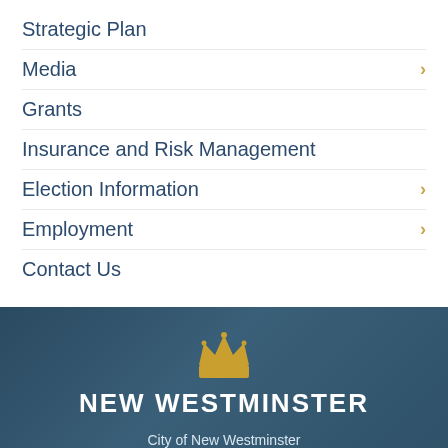Strategic Plan
Media
Grants
Insurance and Risk Management
Election Information
Employment
Contact Us
[Figure (logo): Gold crown icon for City of New Westminster]
NEW WESTMINSTER
City of New Westminster
511 Royal Avenue
New Westminster, BC V3L 1H9
604.521.3711